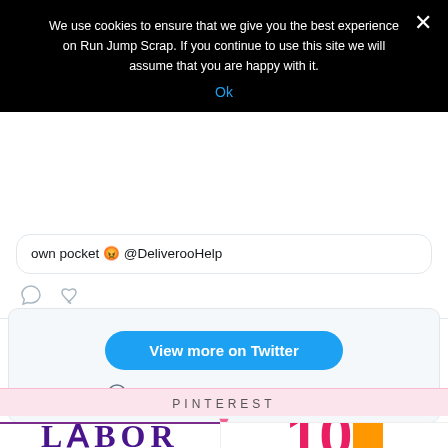We use cookies to ensure that we give you the best experience on Run Jump Scrap. If you continue to use this site we will assume that you are happy with it.
Ok
own pocket 😡 @DeliverooHelp
[Figure (screenshot): Twitter embed panel with 'View more on Twitter' button and privacy info link]
PINTEREST
[Figure (photo): Pinterest image showing LABOR text in purple serif font]
[Figure (photo): Pinterest image showing the number 10 in pink on a white/orange background]